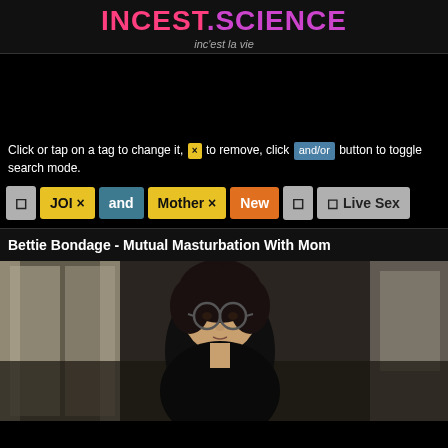INCEST.SCIENCE — inc'est la vie
[Figure (other): Black ad banner area]
Click or tap on a tag to change it, [x] to remove, click [and/or] button to toggle search mode.
[Figure (other): Tag buttons row: [grey] JOI x [and] Mother x [New] [grey] [grey Live Sex]]
Bettie Bondage - Mutual Masturbation With Mom
[Figure (photo): Video thumbnail showing a person with dark curly hair and round glasses in a room with windows and curtains]